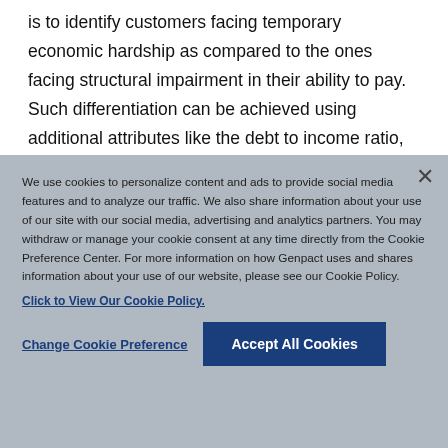is to identify customers facing temporary economic hardship as compared to the ones facing structural impairment in their ability to pay. Such differentiation can be achieved using additional attributes like the debt to income ratio, payment velocity index, and/or by creating ability to pay scores from alternative and unstructured data collected from COVID-19 calls
We use cookies to personalize content and ads to provide social media features and to analyze our traffic. We also share information about your use of our site with our social media, advertising and analytics partners. You may withdraw or manage your cookie consent at any time directly from the Cookie Preference Center. For more information on how Genpact uses and shares information about your use of our website, please see our Cookie Policy. Click to View Our Cookie Policy.
Change Cookie Preference
Accept All Cookies